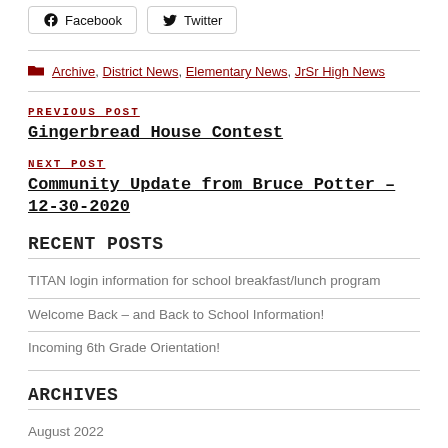Facebook  Twitter
Archive, District News, Elementary News, JrSr High News
PREVIOUS POST
Gingerbread House Contest
NEXT POST
Community Update from Bruce Potter – 12-30-2020
RECENT POSTS
TITAN login information for school breakfast/lunch program
Welcome Back – and Back to School Information!
Incoming 6th Grade Orientation!
ARCHIVES
August 2022